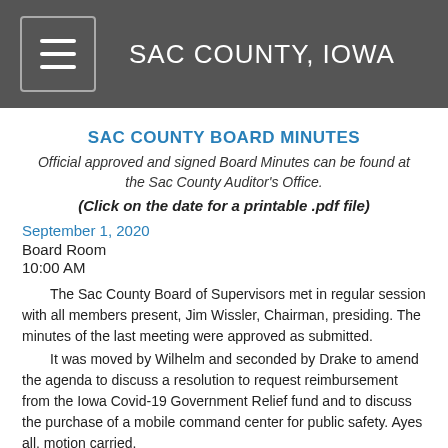SAC COUNTY, IOWA
SAC COUNTY BOARD MINUTES
Official approved and signed Board Minutes can be found at the Sac County Auditor's Office.
(Click on the date for a printable .pdf file)
September 1, 2020
Board Room
10:00 AM
The Sac County Board of Supervisors met in regular session with all members present, Jim Wissler, Chairman, presiding.  The minutes of the last meeting were approved as submitted.
It was moved by Wilhelm and seconded by Drake to amend the agenda to discuss a resolution to request reimbursement from the Iowa Covid-19 Government Relief fund and to discuss the purchase of a mobile command center for public safety.  Ayes all, motion carried.
It was moved by Drake and seconded by Wilhelm to approve